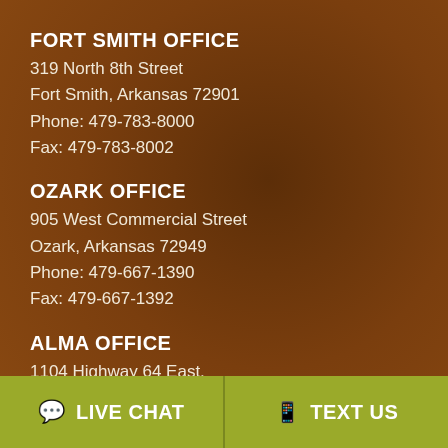FORT SMITH OFFICE
319 North 8th Street
Fort Smith, Arkansas 72901
Phone: 479-783-8000
Fax: 479-783-8002
OZARK OFFICE
905 West Commercial Street
Ozark, Arkansas 72949
Phone: 479-667-1390
Fax: 479-667-1392
ALMA OFFICE
1104 Highway 64 East,
PO Box 730
Alma, AR 72921
LIVE CHAT   TEXT US